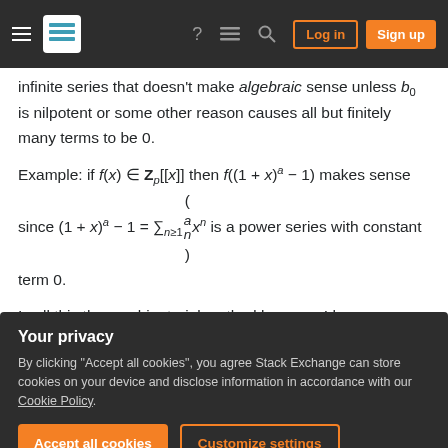Navigation bar with hamburger menu, Stack Exchange logo, help, chat, search icons, Log in and Sign up buttons
infinite series that doesn't make algebraic sense unless b_0 is nilpotent or some other reason causes all but finitely many terms to be 0.
Example: if f(x) ∈ Z_p[[x]] then f((1+x)^a − 1) makes sense since (1+x)^a − 1 = Σ_{n≥1} (a choose n) x^n is a power series with constant term 0.
I call this the combinatorial method because I have seen combinatorialists describe computations with formal power series in this way, which is purely
Your privacy
By clicking "Accept all cookies", you agree Stack Exchange can store cookies on your device and disclose information in accordance with our Cookie Policy.
Accept all cookies   Customize settings
of things in a direct way. To prove things from this